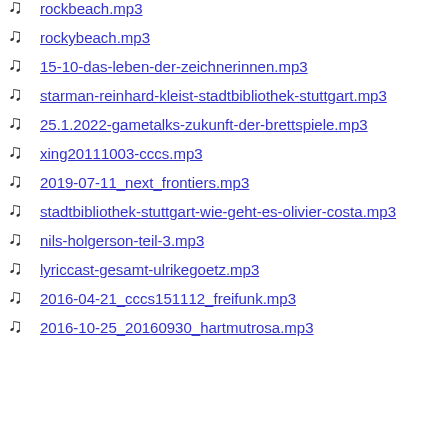rockbeach.mp3
rockybeach.mp3
15-10-das-leben-der-zeichnerinnen.mp3
starman-reinhard-kleist-stadtbibliothek-stuttgart.mp3
25.1.2022-gametalks-zukunft-der-brettspiele.mp3
xing20111003-cccs.mp3
2019-07-11_next_frontiers.mp3
stadtbibliothek-stuttgart-wie-geht-es-olivier-costa.mp3
nils-holgerson-teil-3.mp3
lyriccast-gesamt-ulrikegoetz.mp3
2016-04-21_cccs151112_freifunk.mp3
2016-10-25_20160930_hartmutrosa.mp3